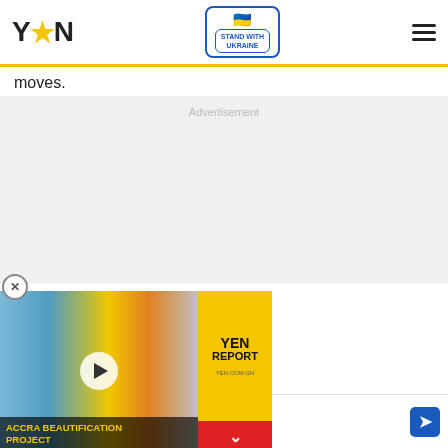YEN — Stand with Ukraine
moves.
Advertisement
[Figure (screenshot): Video popup showing Accra Beautification Project with YEN Report branding on yellow panel, close button and chevron button]
Ashburn  OPEN  10:30AM–9PM  44155 Ashbrook Marketplace, As…